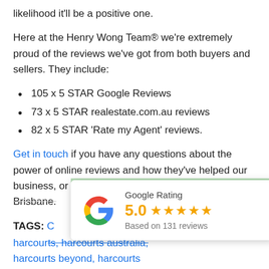likelihood it'll be a positive one.
Here at the Henry Wong Team® we're extremely proud of the reviews we've got from both buyers and sellers. They include:
105 x 5 STAR Google Reviews
73 x 5 STAR realestate.com.au reviews
82 x 5 STAR 'Rate my Agent' reviews.
Get in touch if you have any questions about the power of online reviews and how they've helped our business, or if you want to talk about real estate in Brisbane.
TAGS: C...
harcourts, harcourts australia, harcourts beyond, harcourts
[Figure (infographic): Google Rating widget showing 5.0 stars based on 131 reviews, with Google G logo]